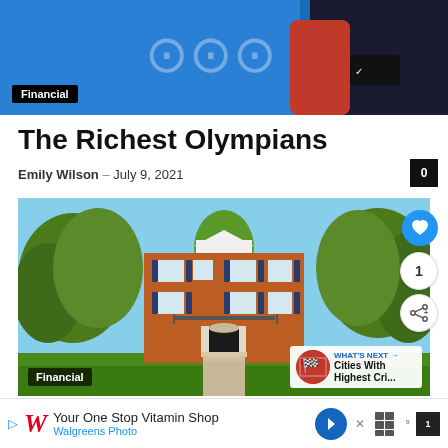[Figure (photo): Top cropped photo of Olympics scene with athlete in red and blue background with Olympic rings]
Financial
The Richest Olympians
Emily Wilson – July 9, 2021
[Figure (photo): Large red brick colonial mansion surrounded by lush green trees, with Financial badge overlay and social interaction buttons]
Financial
Richest Neighbourhoods In Canada
Your One Stop Vitamin Shop Walgreens Photo